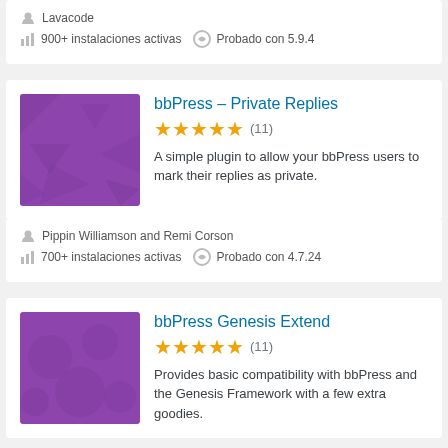Lavacode
900+ instalaciones activas   Probado con 5.9.4
bbPress – Private Replies
★★★★★ (11)
A simple plugin to allow your bbPress users to mark their replies as private.
Pippin Williamson and Remi Corson
700+ instalaciones activas   Probado con 4.7.24
bbPress Genesis Extend
★★★★★ (11)
Provides basic compatibility with bbPress and the Genesis Framework with a few extra goodies.